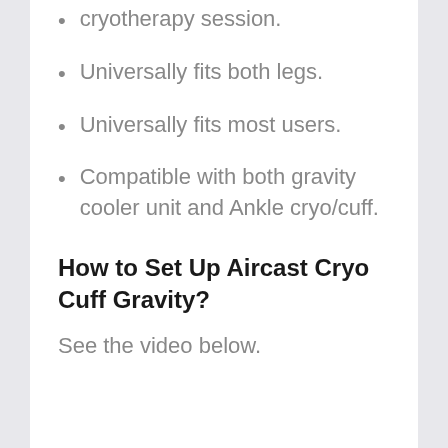cryotherapy session.
Universally fits both legs.
Universally fits most users.
Compatible with both gravity cooler unit and Ankle cryo/cuff.
How to Set Up Aircast Cryo Cuff Gravity?
See the video below.